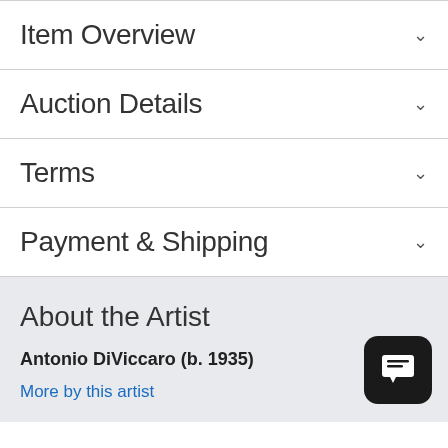Item Overview
Auction Details
Terms
Payment & Shipping
About the Artist
Antonio DiViccaro (b. 1935)
More by this artist